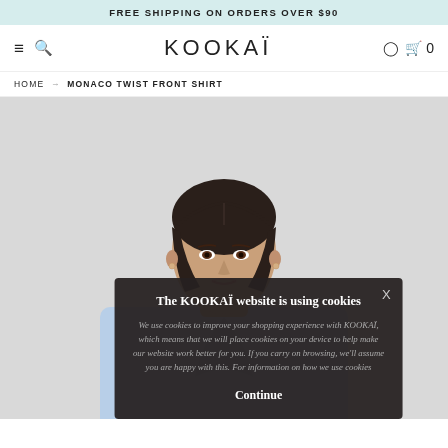FREE SHIPPING ON ORDERS OVER $90
KOOKAÏ
HOME → MONACO TWIST FRONT SHIRT
[Figure (photo): Model wearing a light blue Monaco Twist Front Shirt, photographed from waist up against a light grey background]
The KOOKAÏ website is using cookies
We use cookies to improve your shopping experience with KOOKAÏ, which means that we will place cookies on your device to help make our website work better for you. If you carry on browsing, we'll assume you are happy with this. For information on how we use cookies
Continue